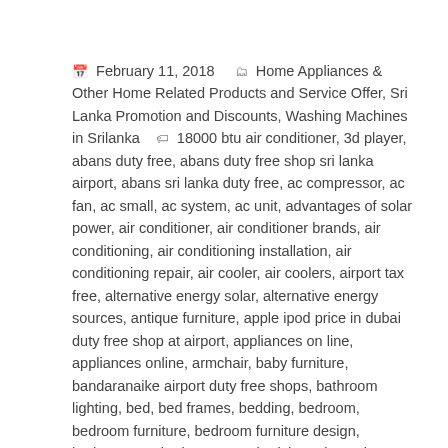February 11, 2018   Home Appliances & Other Home Related Products and Service Offer, Sri Lanka Promotion and Discounts, Washing Machines in Srilanka   18000 btu air conditioner, 3d player, abans duty free, abans duty free shop sri lanka airport, abans sri lanka duty free, ac compressor, ac fan, ac small, ac system, ac unit, advantages of solar power, air conditioner, air conditioner brands, air conditioning, air conditioning installation, air conditioning repair, air cooler, air coolers, airport tax free, alternative energy solar, alternative energy sources, antique furniture, apple ipod price in dubai duty free shop at airport, appliances on line, appliances online, armchair, baby furniture, bandaranaike airport duty free shops, bathroom lighting, bed, bed frames, bedding, bedroom, bedroom furniture, bedroom furniture design, bedroom set, bedroom sets, bedsheet, bespoke furniture, best air conditioner brand, blu, blu ray, blu ray disk, blu ray player, blu video, btu air conditioner, bunk beds, buy kitchen appliances online, cane furniture, car air conditioning, ceiling lamp, ceiling lights, central air conditioner prices, central air conditioning system, chair, chandelier, cheap kitchen appliances, children's furniture, classic radio, coffee tables, colombo duty free, colombo duty free liquor prices, console tables, contemporary sofa beds, convection oven, cooking appliances, cooking set, cookware, cooling system